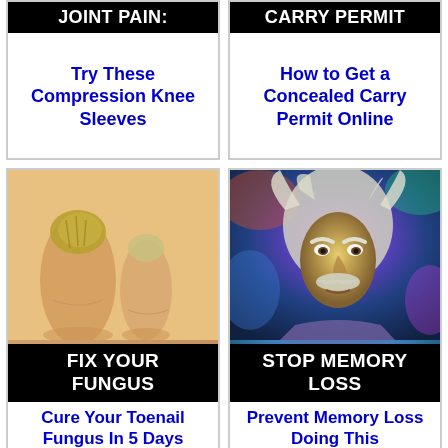[Figure (infographic): Ad card top-left: black header 'JOINT PAIN:' with blue text 'Try These Compression Knee Sleeves']
[Figure (infographic): Ad card top-right: black header 'CARRY PERMIT' with blue text 'How to Get a Concealed Carry Permit Online']
[Figure (infographic): Ad card bottom-left: toenail fungus photo, black banner 'FIX YOUR FUNGUS', blue text 'Cure Your Toenail Fungus In 5 Days']
[Figure (infographic): Ad card bottom-right: Einstein portrait illustration, black banner 'STOP MEMORY LOSS', blue text 'Prevent Memory Loss Doing This']